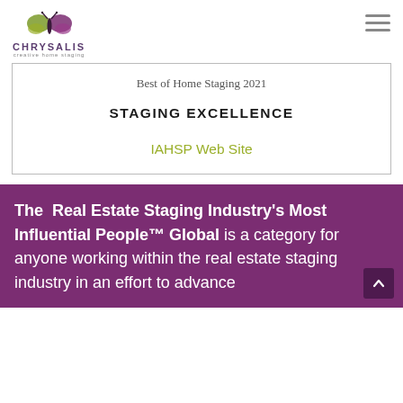CHRYSALIS creative home staging
Best of Home Staging 2021
STAGING EXCELLENCE
IAHSP Web Site
The Real Estate Staging Industry's Most Influential People™ Global is a category for anyone working within the real estate staging industry in an effort to advance